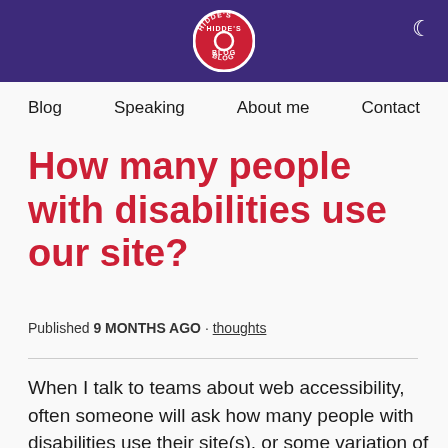Hidde's Blog — navigation header with logo
How many people with disabilities use our site?
Published 9 MONTHS AGO · thoughts
When I talk to teams about web accessibility, often someone will ask how many people with disabilities use their site(s), or some variation of that question. It's a complicated question...